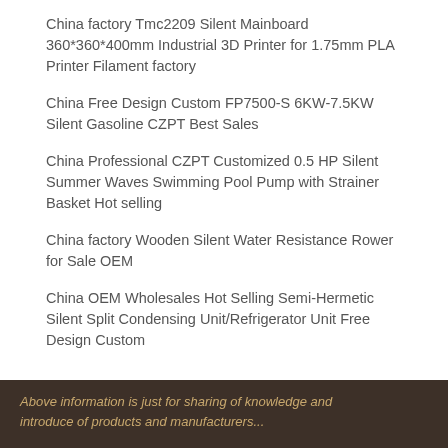China factory Tmc2209 Silent Mainboard 360*360*400mm Industrial 3D Printer for 1.75mm PLA Printer Filament factory
China Free Design Custom FP7500-S 6KW-7.5KW Silent Gasoline CZPT Best Sales
China Professional CZPT Customized 0.5 HP Silent Summer Waves Swimming Pool Pump with Strainer Basket Hot selling
China factory Wooden Silent Water Resistance Rower for Sale OEM
China OEM Wholesales Hot Selling Semi-Hermetic Silent Split Condensing Unit/Refrigerator Unit Free Design Custom
Above information is just for sharing of knowledge and introduce of products and manufacturers...